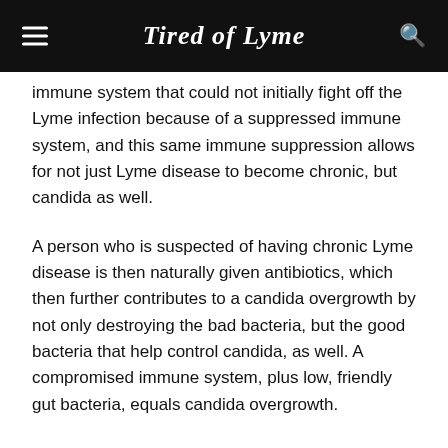Tired of Lyme
immune system that could not initially fight off the Lyme infection because of a suppressed immune system, and this same immune suppression allows for not just Lyme disease to become chronic, but candida as well.
A person who is suspected of having chronic Lyme disease is then naturally given antibiotics, which then further contributes to a candida overgrowth by not only destroying the bad bacteria, but the good bacteria that help control candida, as well. A compromised immune system, plus low, friendly gut bacteria, equals candida overgrowth.